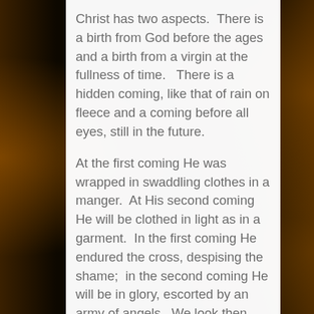Christ has two aspects.  There is a birth from God before the ages and a birth from a virgin at the fullness of time.   There is a hidden coming, like that of rain on fleece and a coming before all eyes, still in the future.

At the first coming He was wrapped in swaddling clothes in a manger.  At His second coming He will be clothed in light as in a garment.  In the first coming He endured the cross, despising the shame;  in the second coming He will be in glory, escorted by an army of angels.  We look then beyond the first coming and await the second.  At the first coming we said – Blessed is He who comes in the name of the Lord.  At the second we shall say it again, we shall go out with the angels to meet the Lord and cry out in adoration – Blessed is He